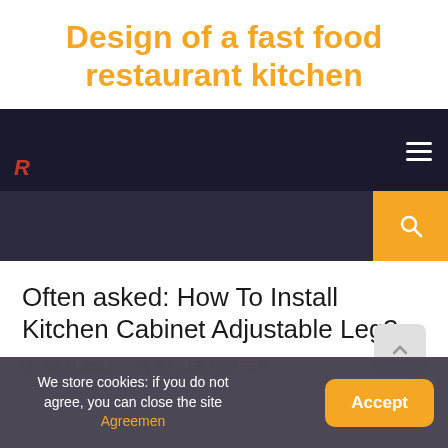Design of a fast food restaurant kitchen
[Figure (screenshot): Website navigation bar with dark background, hamburger menu icon, red R letter logo, and orange search button]
Often asked: How To Install Kitchen Cabinet Adjustable Leg?
15.11.2021   BY LEE HARPER
We store cookies: if you do not agree, you can close the site Agreemen